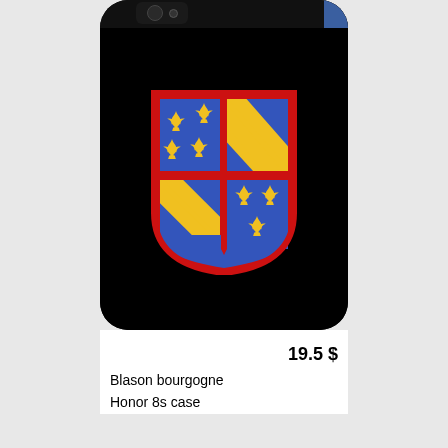[Figure (photo): Product photo of a smartphone (Honor 8s) with a black case featuring the Blason bourgogne (Burgundy coat of arms) heraldic shield design — quartered shield with blue fields bearing golden fleur-de-lis and yellow/blue diagonal stripes, outlined in red.]
19.5 $
Blason bourgogne
Honor 8s case